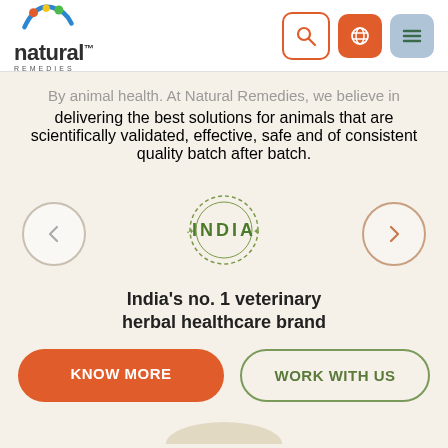[Figure (logo): Natural Remedies logo with colorful arc icon and text 'natural REMEDIES']
[Figure (other): Navigation icons: search button (orange border), globe button (orange fill), hamburger menu button (blue-gray fill)]
...delivering the best solutions for animals that are scientifically validated, effective, safe and of consistent quality batch after batch.
[Figure (illustration): India stamp seal graphic in green, circular with 'INDIA' text in center]
India's no. 1 veterinary herbal healthcare brand
[Figure (other): Left arrow navigation button (circle outline)]
[Figure (other): Right arrow navigation button (circle outline with orange tint)]
KNOW MORE
WORK WITH US